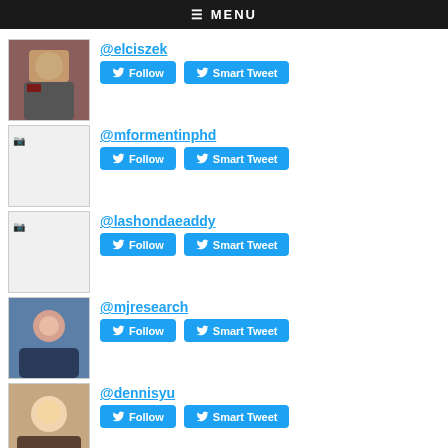≡ MENU
@elciszek
@mformentinphd
@lashondaeaddy
@mjresearch
@dennisyu
@katieplace
Top Replied-To in G3:
@this0499154500